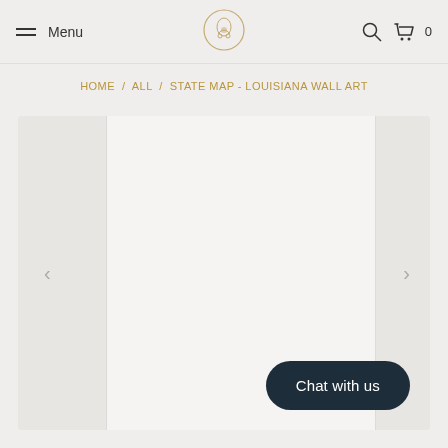Menu  [logo]  [search] [cart] 0
HOME / ALL / STATE MAP - LOUISIANA WALL ART
[Figure (other): Product image viewer panel — large white/light grey content area with left and right navigation arrows, currently showing a blank/loading product image for Louisiana Wall Art]
Chat with us